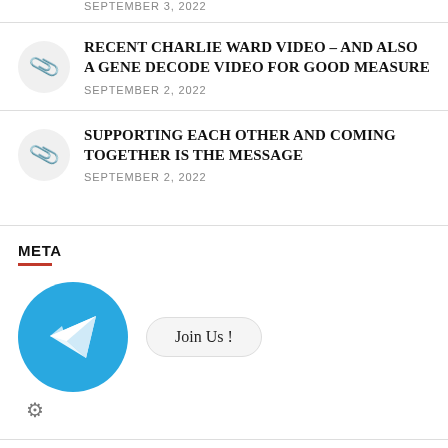SEPTEMBER 3, 2022
RECENT CHARLIE WARD VIDEO – AND ALSO A GENE DECODE VIDEO FOR GOOD MEASURE
SEPTEMBER 2, 2022
SUPPORTING EACH OTHER AND COMING TOGETHER IS THE MESSAGE
SEPTEMBER 2, 2022
META
[Figure (logo): Telegram messenger circular blue logo with white paper plane icon]
Join Us !